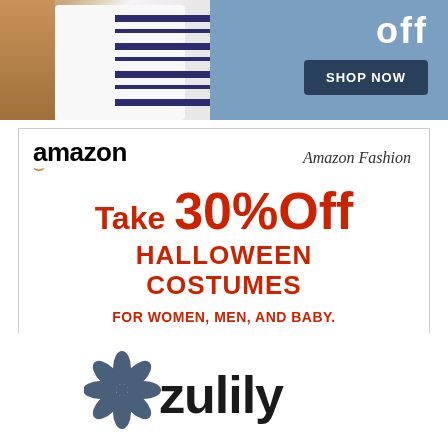[Figure (photo): Top banner with person wearing striped shirt and blue background with partial text 'off' and SHOP NOW button]
[Figure (infographic): Amazon Fashion ad: Take 30% Off Halloween Costumes for Women, Men, and Baby. Free Returns. Select styles. Restrictions apply. 09/02/14 - 09/09/14. Privacy. See eligible items.]
[Figure (logo): Zulily logo with flower/petal icon and zulily wordmark in dark gray/black]